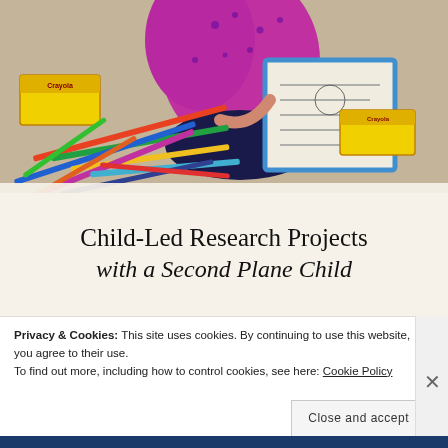[Figure (photo): Child in pink/purple polka dot top sitting on carpet floor with colored pencils and Crayola boxes scattered around, pointing at a book/notebook with blue border]
Child-Led Research Projects with a Second Plane Child
[Figure (photo): Partial photo showing child at desk with colorful pencils/markers in a container]
Privacy & Cookies: This site uses cookies. By continuing to use this website, you agree to their use.
To find out more, including how to control cookies, see here: Cookie Policy
Close and accept